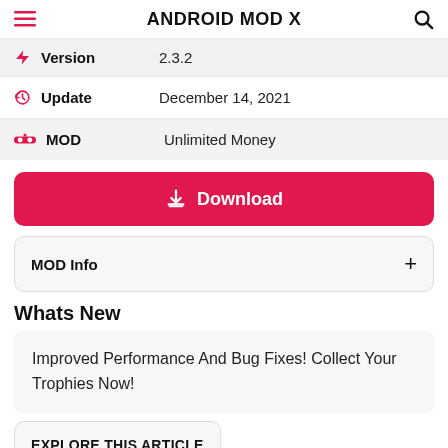ANDROID MOD X
| Field | Value |
| --- | --- |
| Version | 2.3.2 |
| Update | December 14, 2021 |
| MOD | Unlimited Money |
Download
MOD Info +
Whats New
Improved Performance And Bug Fixes! Collect Your Trophies Now!
EXPLORE THIS ARTICLE